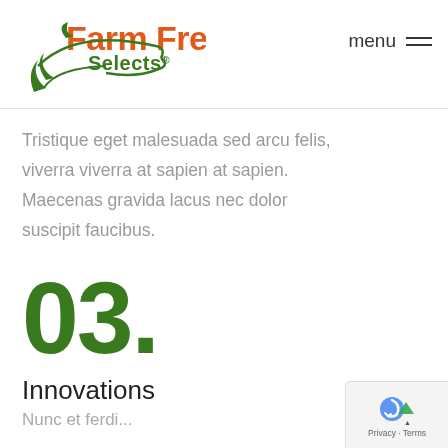[Figure (logo): Farm Fresh Selects logo with orange and green text and decorative leaf/swirl graphic]
menu ≡
Tristique eget malesuada sed arcu felis, viverra viverra at sapien at sapien. Maecenas gravida lacus nec dolor suscipit faucibus.
03.
Innovations
...